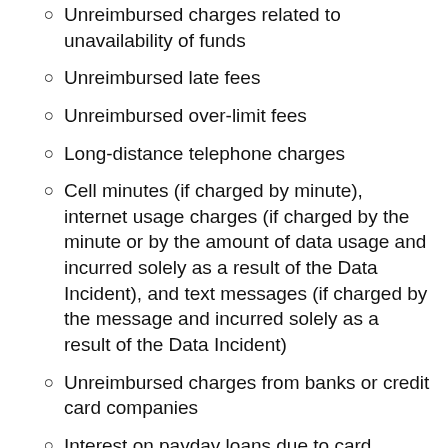Unreimbursed charges related to unavailability of funds
Unreimbursed late fees
Unreimbursed over-limit fees
Long-distance telephone charges
Cell minutes (if charged by minute), internet usage charges (if charged by the minute or by the amount of data usage and incurred solely as a result of the Data Incident), and text messages (if charged by the message and incurred solely as a result of the Data Incident)
Unreimbursed charges from banks or credit card companies
Interest on payday loans due to card cancellation or due to over-limit situations incurred solely as a result of